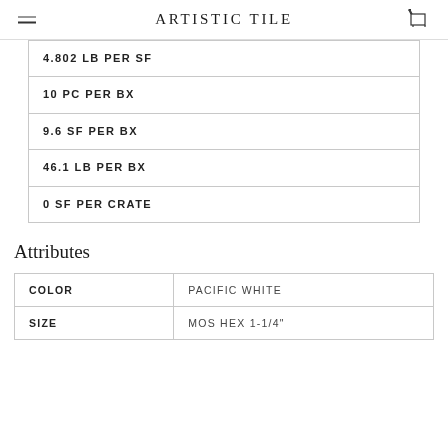ARTISTIC TILE
| 4.802 LB PER SF |
| 10 PC PER BX |
| 9.6 SF PER BX |
| 46.1 LB PER BX |
| 0 SF PER CRATE |
Attributes
| COLOR | SIZE |
| --- | --- |
| COLOR | PACIFIC WHITE |
| SIZE | MOS HEX 1-1/4" |